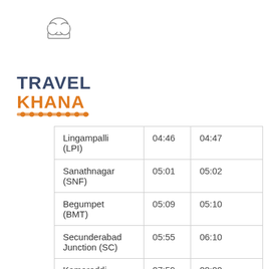[Figure (logo): Travel Khana logo with chef hat icon, TRAVEL in dark blue/gray bold text, KHANA in orange bold text, with decorative food/train track element underneath]
| Lingampalli (LPI) | 04:46 | 04:47 |
| Sanathnagar (SNF) | 05:01 | 05:02 |
| Begumpet (BMT) | 05:09 | 05:10 |
| Secunderabad Junction (SC) | 05:55 | 06:10 |
| Kamareddi (KMC) | 07:59 | 08:00 |
| Nizamabad Junction (NZB) | 09:25 | destination |